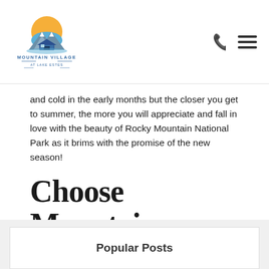[Figure (logo): Mountain Village at Lake Estes logo with mountain, house, and sun graphic above the text]
and cold in the early months but the closer you get to summer, the more you will appreciate and fall in love with the beauty of Rocky Mountain National Park as it brims with the promise of the new season!
Choose Mountain Village at Lake Estes
Reserve your favorite today!
Popular Posts